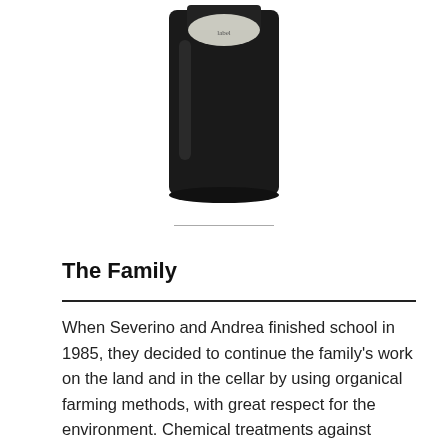[Figure (photo): Bottom portion of a dark wine bottle with a label visible at the top, photographed against a white background.]
The Family
When Severino and Andrea finished school in 1985, they decided to continue the family's work on the land and in the cellar by using organical farming methods, with great respect for the environment. Chemical treatments against parasites were substituted by less toxic substances like powdered sulphur against oidium and copper-sulphate against mildew, or by natural products such as medicinal plant extracts and propolis, control of weeds is carried out by means of machines and by